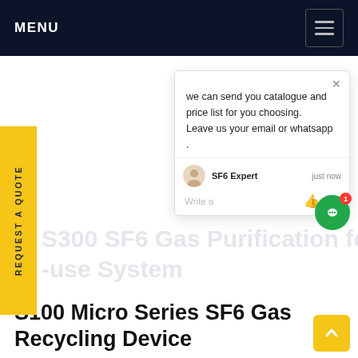MENU
REQUEST A QUOTE
[Figure (screenshot): Chat popup widget showing message: 'we can send you catalogue and price list for you choosing. Leave us your email or whatsapp.' with SF6 Expert agent label and 'just now' timestamp, with Write a message input area.]
S300 SF6 Gas Purification for -use System
S100 Micro Series SF6 Gas Recycling Device